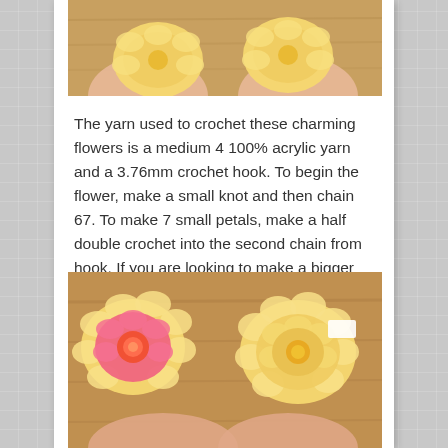[Figure (photo): Top portion of a crochet flower photo showing yellow crocheted flowers being held, cropped at top of page]
The yarn used to crochet these charming flowers is a medium 4 100% acrylic yarn and a 3.76mm crochet hook. To begin the flower, make a small knot and then chain 67. To make 7 small petals, make a half double crochet into the second chain from hook. If you are looking to make a bigger size, go up a hook size.
[Figure (photo): Photo of two crocheted flowers on a wooden surface — one pink and yellow flower on the left and one all-yellow flower on the right]